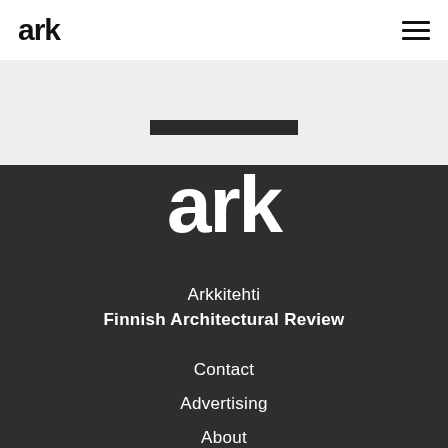ark
[Figure (logo): ark logo in large bold text on dark background]
Arkkitehti
Finnish Architectural Review
Contact
Advertising
About